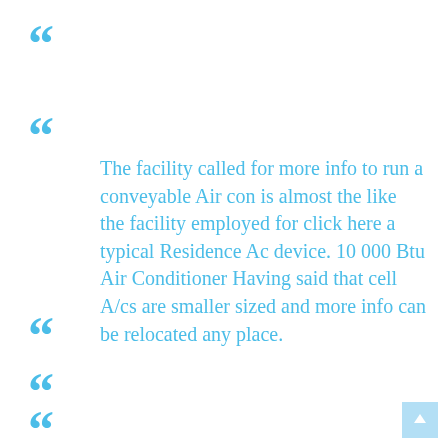[Figure (illustration): Large blue opening quotation mark, top left]
[Figure (illustration): Large blue opening quotation mark, left side second row]
The facility called for more info to run a conveyable Air con is almost the like the facility employed for click here a typical Residence Ac device. 10 000 Btu Air Conditioner Having said that cell A/cs are smaller sized and more info can be relocated any place.
[Figure (illustration): Large blue opening quotation mark, left side third row]
[Figure (illustration): Large blue opening quotation mark, left side fourth row]
[Figure (illustration): Large blue opening quotation mark, left side fifth row]
[Figure (illustration): Small blue button with upward arrow, bottom right]